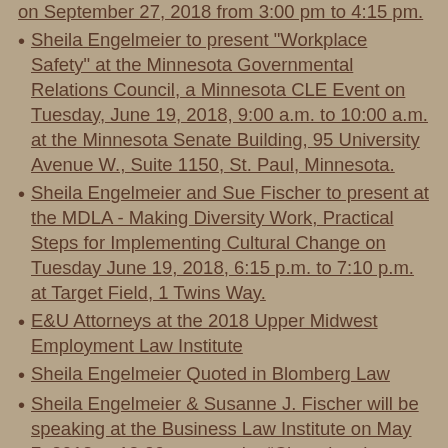on September 27, 2018 from 3:00 pm to 4:15 pm.
Sheila Engelmeier to present "Workplace Safety" at the Minnesota Governmental Relations Council, a Minnesota CLE Event on Tuesday, June 19, 2018, 9:00 a.m. to 10:00 a.m. at the Minnesota Senate Building, 95 University Avenue W., Suite 1150, St. Paul, Minnesota.
Sheila Engelmeier and Sue Fischer to present at the MDLA - Making Diversity Work, Practical Steps for Implementing Cultural Change on Tuesday June 19, 2018, 6:15 p.m. to 7:10 p.m. at Target Field, 1 Twins Way.
E&U Attorneys at the 2018 Upper Midwest Employment Law Institute
Sheila Engelmeier Quoted in Blomberg Law
Sheila Engelmeier & Susanne J. Fischer will be speaking at the Business Law Institute on May 7, 2018 at 12:20 p.m. on the “Changing the Culture of Business: Workplace Lawyers’ Perspectives” at the Minnesota